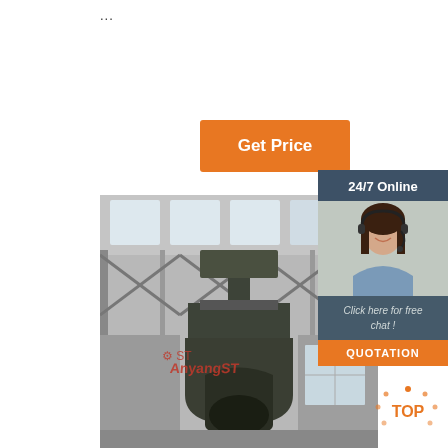...
[Figure (other): Orange 'Get Price' button]
[Figure (photo): Black and white industrial photo of large heavy machinery/forging press inside a factory with Anyang ST watermark logo overlay]
[Figure (other): Sidebar: 24/7 Online support box with photo of female customer support agent, 'Click here for free chat!' text, and orange QUOTATION button]
[Figure (other): Orange TOP scroll-to-top button with dot pattern]